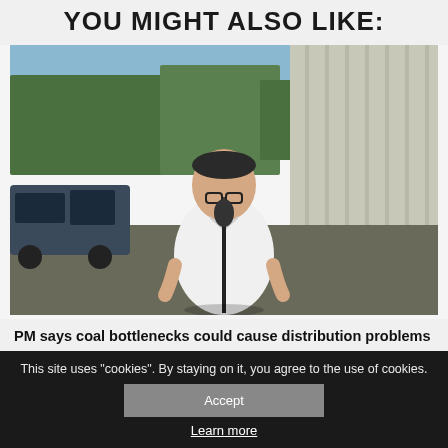YOU MIGHT ALSO LIKE:
[Figure (photo): A man in a white shirt standing at a microphone outdoors, with trees and a wall in the background and a car to the left]
PM says coal bottlenecks could cause distribution problems
This site uses "cookies". By staying on it, you agree to the use of cookies.
Accept
Learn more